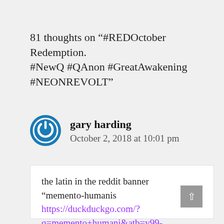81 thoughts on “#REDOctober Redemption. #NewQ #QAnon #GreatAwakening #NEONREVOLT”
gary harding
October 2, 2018 at 10:01 pm
the latin in the reddit banner “memento-humanis https://duckduckgo.com/?q=memento+humani&atb=v99-6_f&iax=images&ia=imagesanis